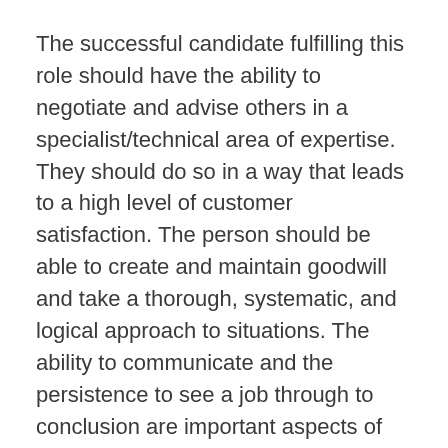The successful candidate fulfilling this role should have the ability to negotiate and advise others in a specialist/technical area of expertise. They should do so in a way that leads to a high level of customer satisfaction. The person should be able to create and maintain goodwill and take a thorough, systematic, and logical approach to situations. The ability to communicate and the persistence to see a job through to conclusion are important aspects of this role. Meeting people with ease should come naturally to the right candidate.
They should apply a systematic and logical approach in order to get things right always working to a high standard to improve and maintain quality. The right